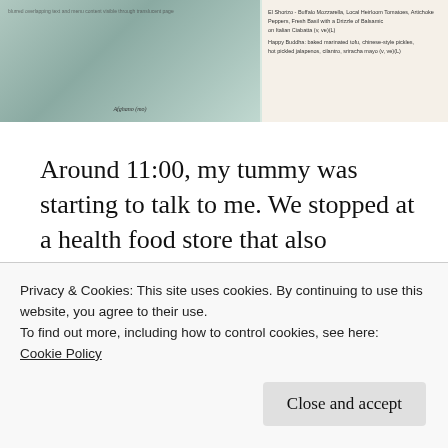[Figure (photo): Two-panel image: left panel shows a blurred/overlapping scanned document or menu page; right panel shows printed text resembling a restaurant menu with items listed including Buffalo Mozzarella, Local Heirloom Tomatoes, Artichoke Peppers, Fresh Basil with Drizzle of Balsamic on Italian Ciabatta, and Happy Buddha baked marinated tofu, chinese-style pickles, hot pickled jalapenos, cilantro, sriracha mayo with captions.]
Around 11:00, my tummy was starting to talk to me. We stopped at a health food store that also appeared on the Happy Cow Ap called “Good News Natural”. We got supplies for snacks and Freddie breakfast foods. We also got some veggie milk for coffee. I had some chickpea salad and plantain chips as a snack to tide me
Privacy & Cookies: This site uses cookies. By continuing to use this website, you agree to their use.
To find out more, including how to control cookies, see here:
Cookie Policy
Close and accept